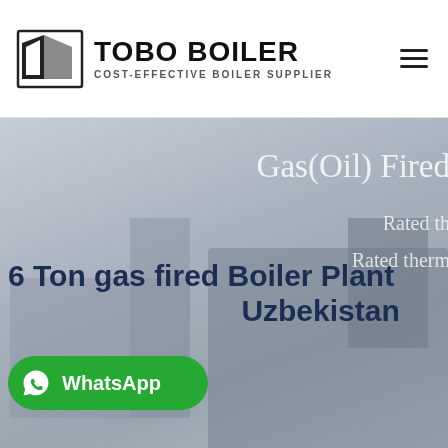TOBO BOILER — COST-EFFECTIVE BOILER SUPPLIER
[Figure (photo): Hero banner showing Gas(Oil) Fired boiler plant with industrial equipment in background, muted blue-grey overlay. Text overlay on right reads 'Gas(Oil) Fired', 'Rated th...', 'Rated therm...'. Foreground shows '6 Ton gas fired Boiler Plant Uzbekistan' and a WhatsApp button.]